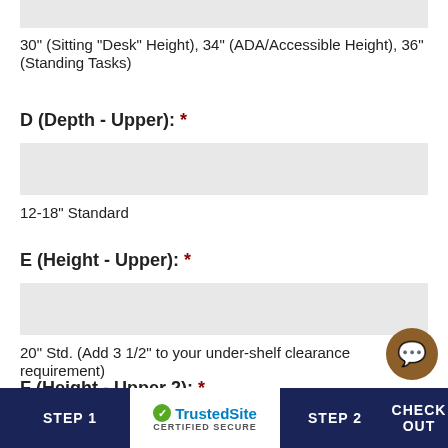30" (Sitting "Desk" Height), 34" (ADA/Accessible Height), 36" (Standing Tasks)
D (Depth - Upper): *
12-18" Standard
E (Height - Upper): *
20" Std. (Add 3 1/2" to your under-shelf clearance requirement)
F (Height - Upper 2): *
STEP 1  |  TrustedSite CERTIFIED SECURE  |  STEP 2  |  CHECK OUT